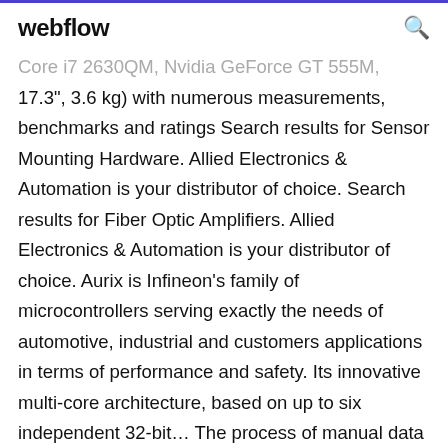webflow
Core i7 2630QM, Nvidia GeForce GT 555M, 17.3", 3.6 kg) with numerous measurements, benchmarks and ratings Search results for Sensor Mounting Hardware. Allied Electronics & Automation is your distributor of choice. Search results for Fiber Optic Amplifiers. Allied Electronics & Automation is your distributor of choice. Aurix is Infineon's family of microcontrollers serving exactly the needs of automotive, industrial and customers applications in terms of performance and safety. Its innovative multi-core architecture, based on up to six independent 32-bit... The process of manual data entry in the ERP system was subject to error and very time- consuming.